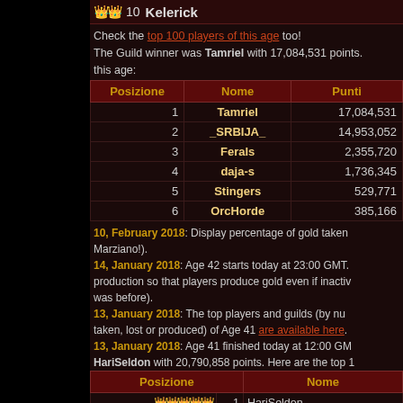👑👑 10  Kelerick
Check the top 100 players of this age too! The Guild winner was Tamriel with 17,084,531 points. this age:
| Posizione | Nome | Punti |
| --- | --- | --- |
| 1 | Tamriel | 17,084,531 |
| 2 | _SRBIJA_ | 14,953,052 |
| 3 | Ferals | 2,355,720 |
| 4 | daja-s | 1,736,345 |
| 5 | Stingers | 529,771 |
| 6 | OrcHorde | 385,166 |
10, February 2018: Display percentage of gold taken Marziano!). 14, January 2018: Age 42 starts today at 23:00 GMT. production so that players produce gold even if inactive was before). 13, January 2018: The top players and guilds (by num taken, lost or produced) of Age 41 are available here. 13, January 2018: Age 41 finished today at 12:00 GMT. HariSeldon with 20,790,858 points. Here are the top 1
| Posizione | Nome |
| --- | --- |
| 👑👑👑👑👑 1 | HariSeldon |
| 👑👑👑👑 2 | presente |
| 👑👑👑 3 | saccheggiatore |
| 👑👑 4 | Jarlofsolitude |
| 👑👑 5 | DUlrich1227 |